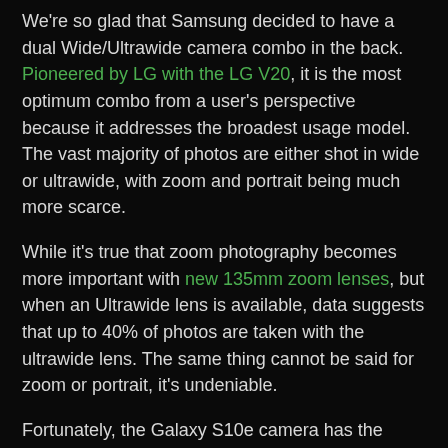We're so glad that Samsung decided to have a dual Wide/Ultrawide camera combo in the back. Pioneered by LG with the LG V20, it is the most optimum combo from a user's perspective because it addresses the broadest usage model. The vast majority of photos are either shot in wide or ultrawide, with zoom and portrait being much more scarce.
While it's true that zoom photography becomes more important with new 135mm zoom lenses, but when an Ultrawide lens is available, data suggests that up to 40% of photos are taken with the ultrawide lens. The same thing cannot be said for zoom or portrait, it's undeniable.
Fortunately, the Galaxy S10e camera has the exact